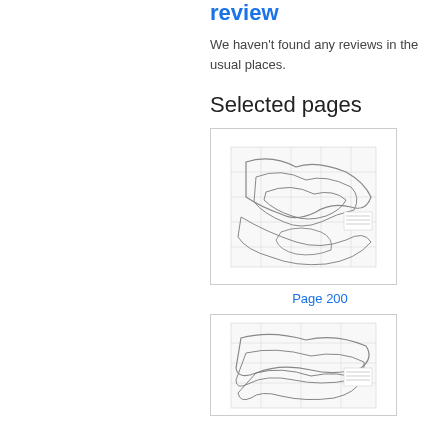review
We haven't found any reviews in the usual places.
Selected pages
[Figure (map): Thumbnail of a map or geographical illustration from Page 200 of the book, showing contour lines and geographic features in pencil sketch style.]
Page 200
[Figure (map): Thumbnail of another map or geographical illustration page from the book, similar style with contour lines and geographic features.]